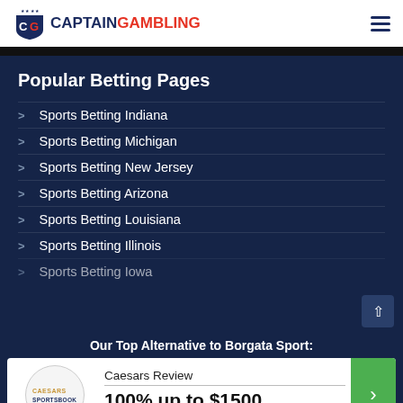CAPTAIN GAMBLING
Popular Betting Pages
Sports Betting Indiana
Sports Betting Michigan
Sports Betting New Jersey
Sports Betting Arizona
Sports Betting Louisiana
Sports Betting Illinois
Sports Betting Iowa
Our Top Alternative to Borgata Sport:
Caesars Review
100% up to $1500
T&Cs apply, 21+